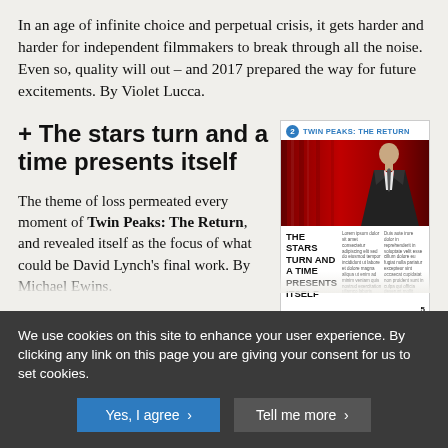In an age of infinite choice and perpetual crisis, it gets harder and harder for independent filmmakers to break through all the noise. Even so, quality will out – and 2017 prepared the way for future excitements. By Violet Lucca.
+ The stars turn and a time presents itself
[Figure (screenshot): Thumbnail of a magazine article page about Twin Peaks: The Return, showing a man in a suit against red curtains, with the headline THE STARS TURN AND A TIME PRESENTS ITSELF]
The theme of loss permeated every moment of Twin Peaks: The Return, and revealed itself as the focus of what could be David Lynch's final work. By Michael Ewins.
+ The year in… British cinema
A bumper harvest of accomplished and original British films – what more could anyone ask for? But look a little deeper into the
We use cookies on this site to enhance your user experience. By clicking any link on this page you are giving your consent for us to set cookies.